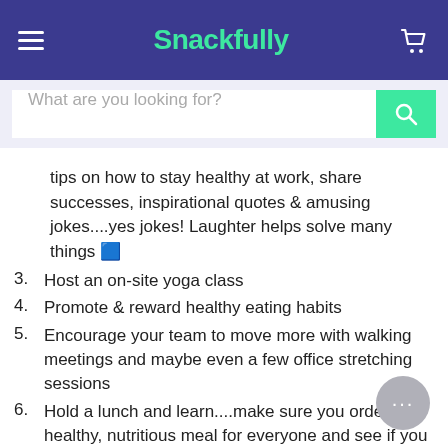Snackfully
What are you looking for?
tips on how to stay healthy at work, share successes, inspirational quotes & amusing jokes....yes jokes! Laughter helps solve many things 😊
3. Host an on-site yoga class
4. Promote & reward healthy eating habits
5. Encourage your team to move more with walking meetings and maybe even a few office stretching sessions
6. Hold a lunch and learn....make sure you order a healthy, nutritious meal for everyone and see if you can invite an inspiring person from outside of your team to share their story with your team
7. Offer standing desks